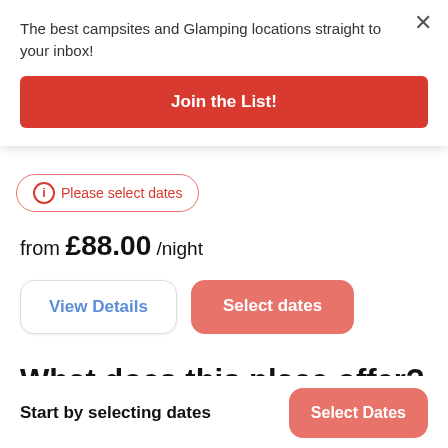The best campsites and Glamping locations straight to your inbox!
Join the List!
Please select dates
from £88.00 /night
View Details
Select dates
What does this place offer?
Start by selecting dates
Select Dates